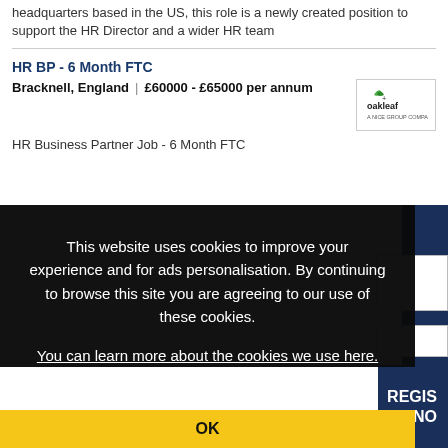headquarters based in the US, this role is a newly created position to support the HR Director and a wider HR team
HR BP - 6 Month FTC
Bracknell, England | £60000 - £65000 per annum
HR Business Partner Job - 6 Month FTC
This website uses cookies to improve your experience and for ads personalisation. By continuing to browse this site you are agreeing to our use of these cookies. You can learn more about the cookies we use here.
OK